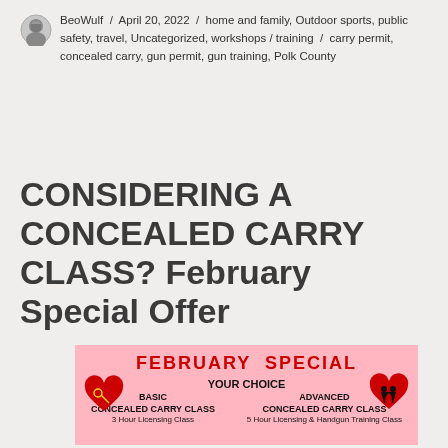BeoWulf / April 20, 2022 / home and family, Outdoor sports, public safety, travel, Uncategorized, workshops / training / carry permit, concealed carry, gun permit, gun training, Polk County
CONSIDERING A CONCEALED CARRY CLASS? February Special Offer
[Figure (infographic): February Special promotional flyer on pink background. 'FEBRUARY SPECIAL' in large red text, 'YOUR CHOICE' in bold black, two options: BASIC CONCEALED CARRY CLASS (3 Hour Licensing Class) and ADVANCED CONCEALED CARRY CLASS (5 Hour Licensing & Handgun Training Class), with heart decorations.]